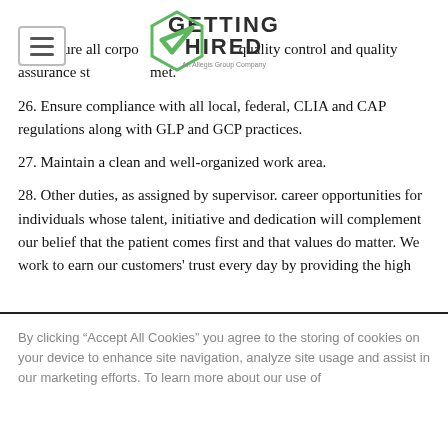[Figure (logo): Getting Hired logo - An Allegis Group Company, green checkmark with text GETTING HIRED]
25. Ensure all corporate quality control and quality assurance standards are met.
26. Ensure compliance with all local, federal, CLIA and CAP regulations along with GLP and GCP practices.
27. Maintain a clean and well-organized work area.
28. Other duties, as assigned by supervisor. career opportunities for individuals whose talent, initiative and dedication will complement our belief that the patient comes first and that values do matter. We work to earn our customers' trust every day by providing the high
By clicking “Accept All Cookies” you agree to the storing of cookies on your device to enhance site navigation, analyze site usage and assist in our marketing efforts. To learn more about our use of